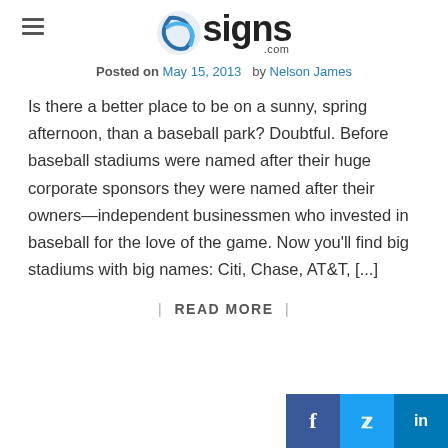signs.com
Posted on May 15, 2013  by Nelson James
Is there a better place to be on a sunny, spring afternoon, than a baseball park? Doubtful. Before baseball stadiums were named after their huge corporate sponsors they were named after their owners—independent businessmen who invested in baseball for the love of the game. Now you'll find big stadiums with big names: Citi, Chase, AT&T, [...]
| READ MORE |